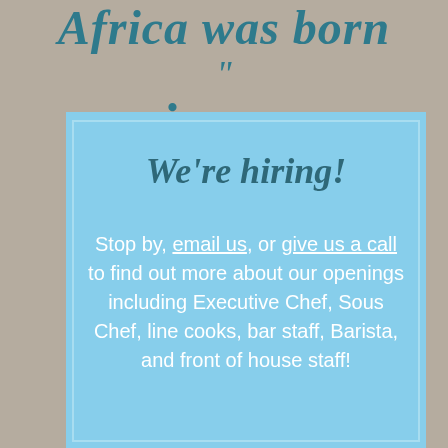Africa was born “ in me
We’re hiring!
Stop by, email us, or give us a call to find out more about our openings including Executive Chef, Sous Chef, line cooks, bar staff, Barista, and front of house staff!